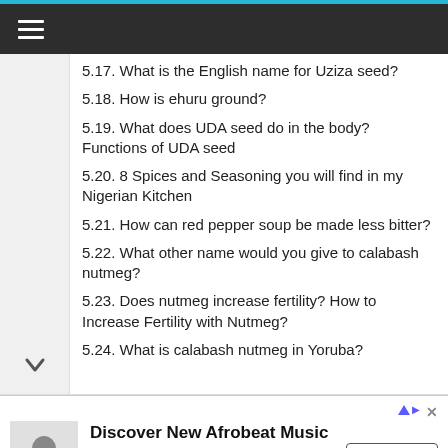Navigation menu header bar
5.17. What is the English name for Uziza seed?
5.18. How is ehuru ground?
5.19. What does UDA seed do in the body? Functions of UDA seed
5.20. 8 Spices and Seasoning you will find in my Nigerian Kitchen
5.21. How can red pepper soup be made less bitter?
5.22. What other name would you give to calabash nutmeg?
5.23. Does nutmeg increase fertility? How to Increase Fertility with Nutmeg?
5.24. What is calabash nutmeg in Yoruba?
[Figure (infographic): Advertisement banner for Discover New Afrobeat Music - Same Thing by JTK, with a person silhouette icon, Learn More button, and ad badge.]